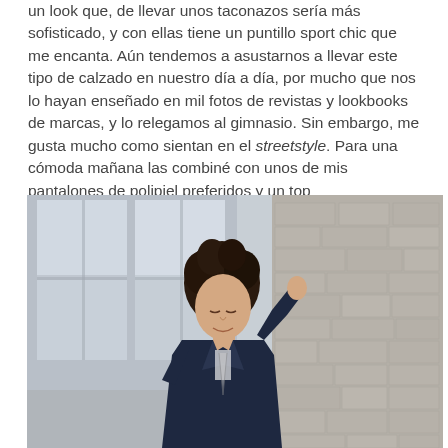un look que, de llevar unos taconazos sería más sofisticado, y con ellas tiene un puntillo sport chic que me encanta. Aún tendemos a asustarnos a llevar este tipo de calzado en nuestro día a día, por mucho que nos lo hayan enseñado en mil fotos de revistas y lookbooks de marcas, y lo relegamos al gimnasio. Sin embargo, me gusta mucho como sientan en el streetstyle. Para una cómoda mañana las combiné con unos de mis pantalones de polipiel preferidos y un top semitransparente. ¿Cómo lleváis vosotras vuestras zapatillas?
[Figure (photo): A young woman with dark curly hair, wearing a dark navy outfit, posing outdoors in front of a building with glass windows and a textured stone wall. She is looking down with one hand raised to her head.]